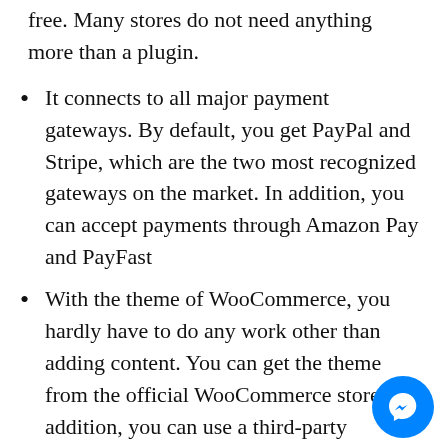free. Many stores do not need anything more than a plugin.
It connects to all major payment gateways. By default, you get PayPal and Stripe, which are the two most recognized gateways on the market. In addition, you can accept payments through Amazon Pay and PayFast
With the theme of WooCommerce, you hardly have to do any work other than adding content. You can get the theme from the official WooCommerce store. In addition, you can use a third-party website, such as ThemeForest, which has the largest WooCommerce theme store on the market